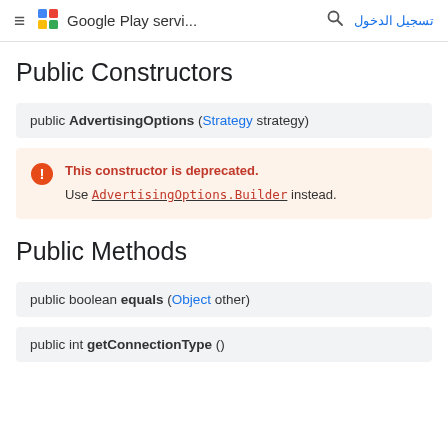≡  Google Play servi...  🔍  تسجيل الدخول
Public Constructors
public AdvertisingOptions (Strategy strategy)
This constructor is deprecated. Use AdvertisingOptions.Builder instead.
Public Methods
public boolean equals (Object other)
public int getConnectionType ()